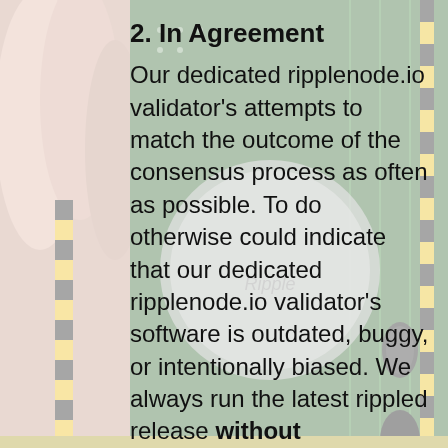[Figure (photo): Background photo of electronic circuit board components and a Ripple (XRP) coin, with fingers touching components on the left side. Image has a white semi-transparent overlay.]
2. In Agreement
Our dedicated ripplenode.io validator's attempts to match the outcome of the consensus process as often as possible. To do otherwise could indicate that our dedicated ripplenode.io validator's software is outdated, buggy, or intentionally biased. We always run the latest rippled release without modifications. We watch rippled releases in order to